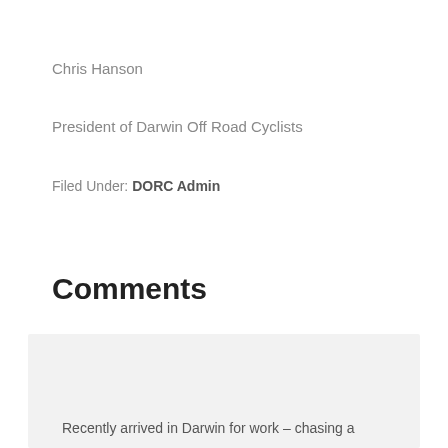Chris Hanson
President of Darwin Off Road Cyclists
Filed Under: DORC Admin
Comments
Mark Frayne says
23/05/2018 at 1:32 pm
Recently arrived in Darwin for work – chasing a